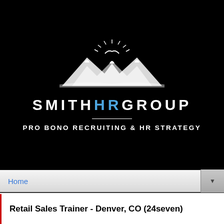[Figure (logo): Smith HR Group logo: white stylized mountain peaks with a bird and sun rays above, on black background]
SMITHHRGROUP
PRO BONO RECRUITING & HR STRATEGY
Home
Retail Sales Trainer - Denver, CO (24seven)